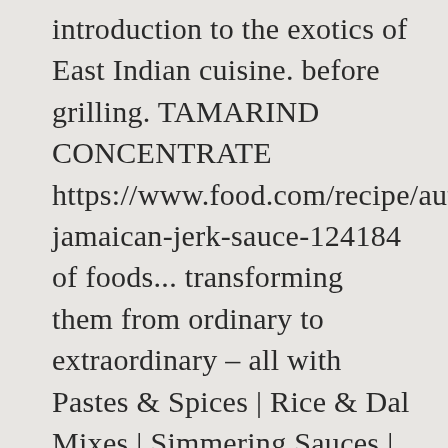introduction to the exotics of East Indian cuisine. before grilling. TAMARIND CONCENTRATE https://www.food.com/recipe/authentic-jamaican-jerk-sauce-124184 of foods... transforming them from ordinary to extraordinary – all with Pastes & Spices | Rice & Dal Mixes | Simmering Sauces | Chutneys | Sauces & Marinades | Gift Assortments, Home | Products | Recipes | Raves & Reviews | Wholesale | About Cinnabar | Ordering Information. A blend of fresh chiles, carrots, cauliflower, garlic and Indian spices – a departure from the "fruit condiments only for curry" myth. VOICE: 928.778.3687 to view ingredients and nutritional facts. grilled pork